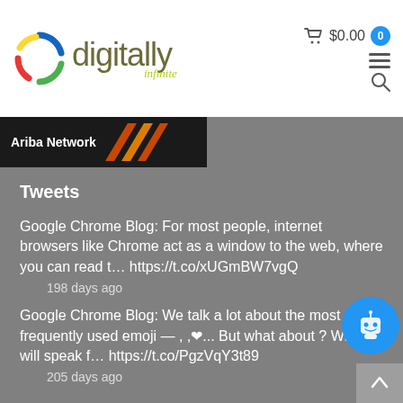[Figure (logo): Digitally Infinite logo with colorful circular icon and text]
[Figure (screenshot): Ariba Network banner with orange diagonal logo lines]
Tweets
Google Chrome Blog: For most people, internet browsers like Chrome act as a window to the web, where you can read t… https://t.co/xUGmBW7vgQ
198 days ago
Google Chrome Blog: We talk a lot about the most frequently used emoji — , ,❤... But what about ? Who will speak f… https://t.co/PgzVqY3t89
205 days ago